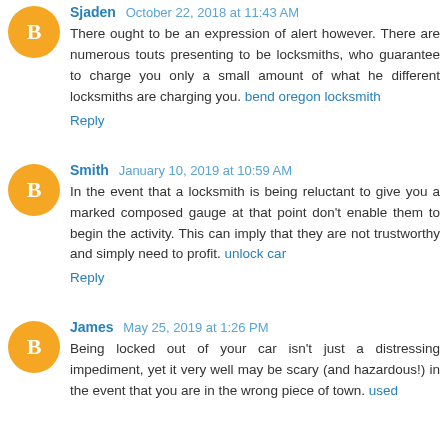Sjaden October 22, 2018 at 11:43 AM
There ought to be an expression of alert however. There are numerous touts presenting to be locksmiths, who guarantee to charge you only a small amount of what he different locksmiths are charging you. bend oregon locksmith
Reply
Smith January 10, 2019 at 10:59 AM
In the event that a locksmith is being reluctant to give you a marked composed gauge at that point don't enable them to begin the activity. This can imply that they are not trustworthy and simply need to profit. unlock car
Reply
James May 25, 2019 at 1:26 PM
Being locked out of your car isn't just a distressing impediment, yet it very well may be scary (and hazardous!) in the event that you are in the wrong piece of town. used